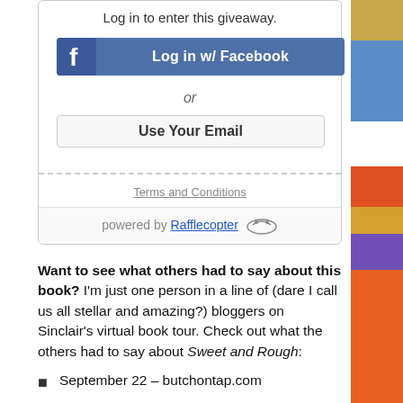Log in to enter this giveaway.
[Figure (screenshot): Facebook login button - blue button with Facebook 'f' icon and text 'Log in w/ Facebook']
or
[Figure (screenshot): Use Your Email button - grey outlined button]
Terms and Conditions
powered by Rafflecopter
Want to see what others had to say about this book? I'm just one person in a line of (dare I call us all stellar and amazing?) bloggers on Sinclair's virtual book tour. Check out what the others had to say about Sweet and Rough:
September 22 – butchontap.com
September 23 – alphaharlot.com
September 25 – wholesexlife.com
September 28 – dearbutchlovefemme.wordpress.com